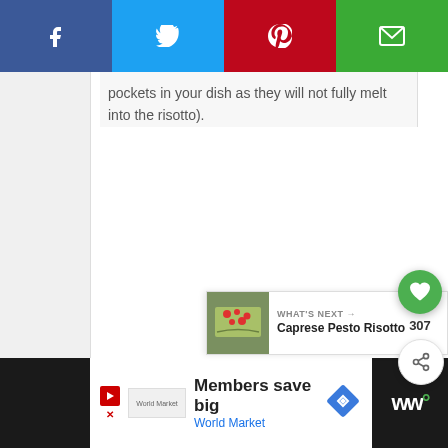[Figure (screenshot): Social share bar with Facebook (dark blue), Twitter (light blue), Pinterest (red), and Email (green) buttons across the top]
pockets in your dish as they will not fully melt into the risotto).
[Figure (infographic): Floating heart button (green circle with heart icon) showing 307 likes, and a share button (white circle with share icon)]
[Figure (screenshot): What's Next panel showing a food photo thumbnail and text 'WHAT'S NEXT → Caprese Pesto Risotto']
[Figure (screenshot): Advertisement bar at bottom: Members save big / World Market, with play button, brand logo, navigation icon, and WW logo]